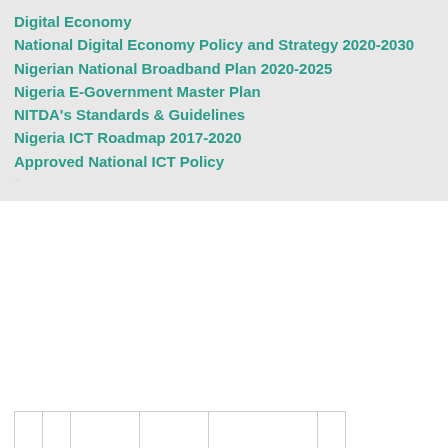Digital Economy
National Digital Economy Policy and Strategy 2020-2030
Nigerian National Broadband Plan 2020-2025
Nigeria E-Government Master Plan
NITDA's Standards & Guidelines
Nigeria ICT Roadmap 2017-2020
Approved National ICT Policy
[Figure (logo): Row of organization logos: NCC, NITDA, NIPOST, NIGCOMSAT, GALAXY BACKBONE, NIMC]
NCC NITDA NIPOST NIGCOMSAT GALAXY BACKBONE NIMC